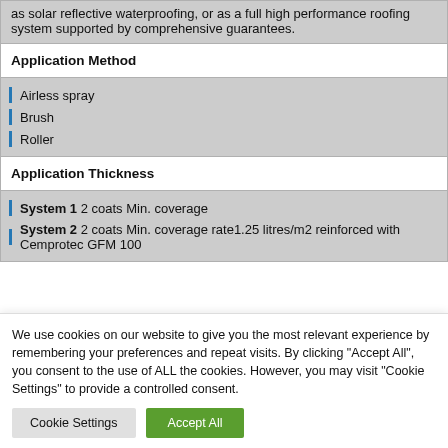as solar reflective waterproofing, or as a full high performance roofing system supported by comprehensive guarantees.
Application Method
Airless spray
Brush
Roller
Application Thickness
System 1 2 coats Min. coverage
System 2 2 coats Min. coverage rate1.25 litres/m2 reinforced with Cemprotec GFM 100
We use cookies on our website to give you the most relevant experience by remembering your preferences and repeat visits. By clicking "Accept All", you consent to the use of ALL the cookies. However, you may visit "Cookie Settings" to provide a controlled consent.